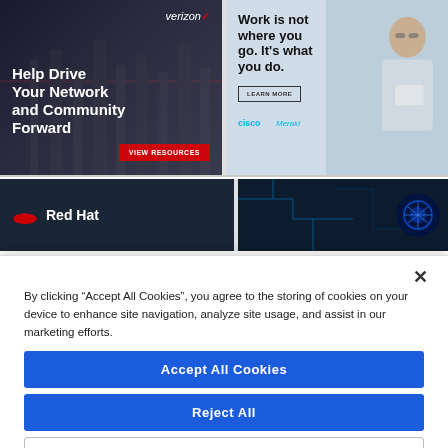[Figure (illustration): Verizon advertisement: dark background with city skyline, text 'Help Drive Your Network and Community Forward', red 'VIEW RESOURCES' button]
[Figure (illustration): Cisco Meraki advertisement: photo of man with tablet, text 'Work is not where you go. It's what you do.', LEARN MORE button, Cisco and Meraki logos]
[Figure (logo): Red Hat advertisement: dark background with Red Hat logo]
[Figure (illustration): Dark circuit board/AI themed advertisement]
By clicking “Accept All Cookies”, you agree to the storing of cookies on your device to enhance site navigation, analyze site usage, and assist in our marketing efforts.
Accept All Cookies
Reject All
Cookies Settings